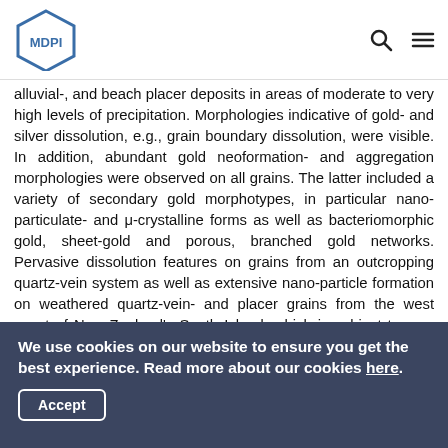MDPI
alluvial-, and beach placer deposits in areas of moderate to very high levels of precipitation. Morphologies indicative of gold- and silver dissolution, e.g., grain boundary dissolution, were visible. In addition, abundant gold neoformation- and aggregation morphologies were observed on all grains. The latter included a variety of secondary gold morphotypes, in particular nano-particulate- and μ-crystalline forms as well as bacteriomorphic gold, sheet-gold and porous, branched gold networks. Pervasive dissolution features on grains from an outcropping quartz-vein system as well as extensive nano-particle formation on weathered quartz-vein- and placer grains from the west coast of New Zealand's South Island, which is subject to very heavy
We use cookies on our website to ensure you get the best experience. Read more about our cookies here.
Accept